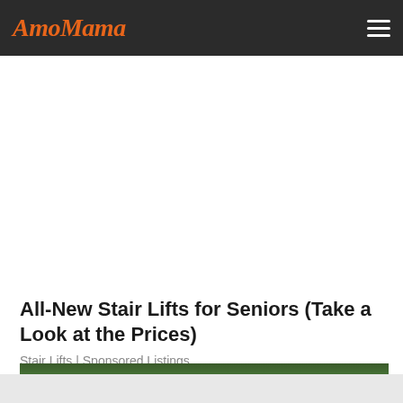AmoMama
All-New Stair Lifts for Seniors (Take a Look at the Prices)
Stair Lifts | Sponsored Listings
[Figure (photo): Partial photo at bottom of page showing green foliage/trees]